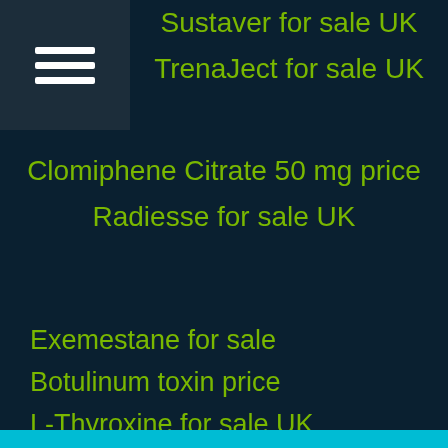Sustaver for sale UK
TrenaJect for sale UK
Clomiphene Citrate 50 mg price
Radiesse for sale UK
Exemestane for sale
Botulinum toxin price
L-Thyroxine for sale UK
Stanozolol for sale UK